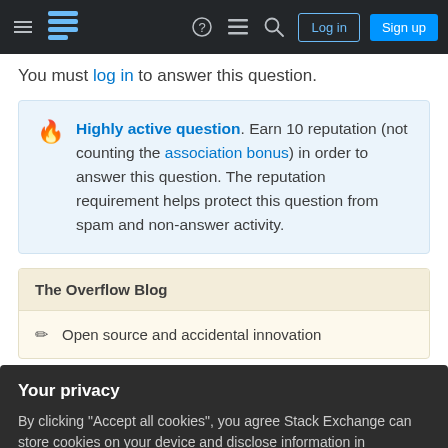Stack Exchange navigation bar with Log in and Sign up buttons
You must log in to answer this question.
Highly active question. Earn 10 reputation (not counting the association bonus) in order to answer this question. The reputation requirement helps protect this question from spam and non-answer activity.
The Overflow Blog
Open source and accidental innovation
Your privacy
By clicking "Accept all cookies", you agree Stack Exchange can store cookies on your device and disclose information in accordance with our Cookie Policy.
Accept all cookies | Customize settings